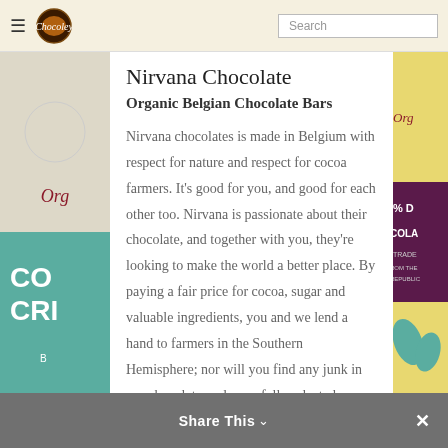Chocoley — Navigation and Search
Nirvana Chocolate
Organic Belgian Chocolate Bars
Nirvana chocolates is made in Belgium with respect for nature and respect for cocoa farmers. It's good for you, and good for each other too. Nirvana is passionate about their chocolate, and together with you, they're looking to make the world a better place. By paying a fair price for cocoa, sugar and valuable ingredients, you and we lend a hand to farmers in the Southern Hemisphere; nor will you find any junk in our chocolate: only carefully selected organic Share This ve used to
Share This ✕